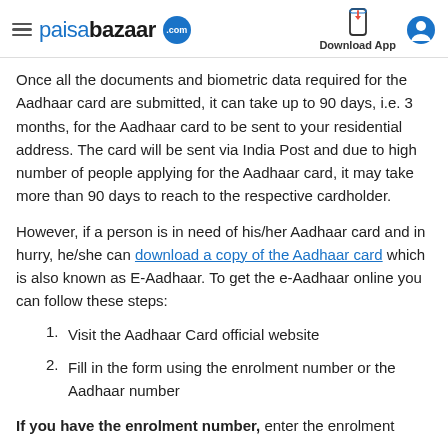paisabazaar.com — Download App
Once all the documents and biometric data required for the Aadhaar card are submitted, it can take up to 90 days, i.e. 3 months, for the Aadhaar card to be sent to your residential address. The card will be sent via India Post and due to high number of people applying for the Aadhaar card, it may take more than 90 days to reach to the respective cardholder.
However, if a person is in need of his/her Aadhaar card and in hurry, he/she can download a copy of the Aadhaar card which is also known as E-Aadhaar. To get the e-Aadhaar online you can follow these steps:
1. Visit the Aadhaar Card official website
2. Fill in the form using the enrolment number or the Aadhaar number
If you have the enrolment number, enter the enrolment number along the appropriate space provided.